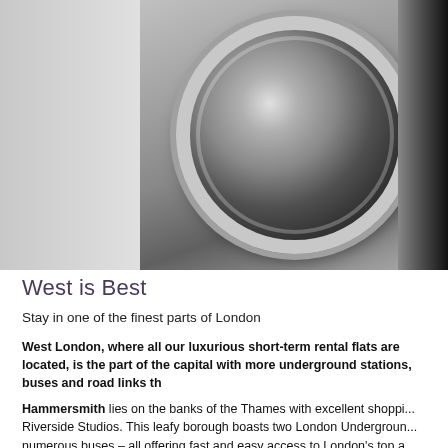[Figure (photo): Photo of a washing machine drum/porthole, showing the circular door with chrome ring, dark interior, against a grey background. Partially cropped on right side showing another dark appliance.]
West is Best
Stay in one of the finest parts of London
West London, where all our luxurious short-term rental flats are located, is the part of the capital with more underground stations, buses and road links th...
Hammersmith lies on the banks of the Thames with excellent shoppi... Riverside Studios. This leafy borough boasts two London Undergroun... numerous buses – all offering fast and easy access to London's top a...
The nearby Kings Mall shopping centre has all the stores you need f... stretches into upmarket Chiswick, offers a world of restaurants servi... a visit to one of our historic English pubs to watch the world flow by...